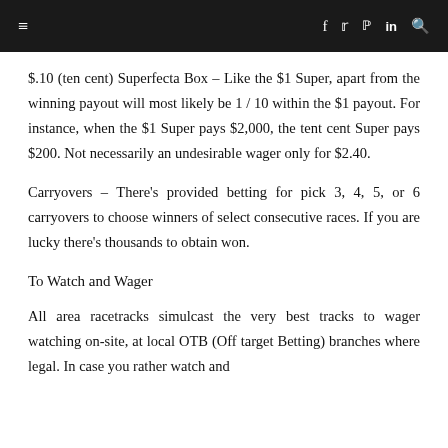≡  f  𝕿  𝗽  in  🔍
$.10 (ten cent) Superfecta Box – Like the $1 Super, apart from the winning payout will most likely be 1 / 10 within the $1 payout. For instance, when the $1 Super pays $2,000, the tent cent Super pays $200. Not necessarily an undesirable wager only for $2.40.
Carryovers – There's provided betting for pick 3, 4, 5, or 6 carryovers to choose winners of select consecutive races. If you are lucky there's thousands to obtain won.
To Watch and Wager
All area racetracks simulcast the very best tracks to wager watching on-site, at local OTB (Off target Betting) branches where legal. In case you rather watch and